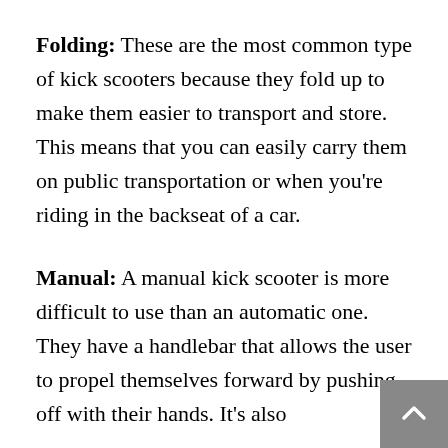Folding: These are the most common type of kick scooters because they fold up to make them easier to transport and store. This means that you can easily carry them on public transportation or when you're riding in the backseat of a car.
Manual: A manual kick scooter is more difficult to use than an automatic one. They have a handlebar that allows the user to propel themselves forward by pushing off with their hands. It's also